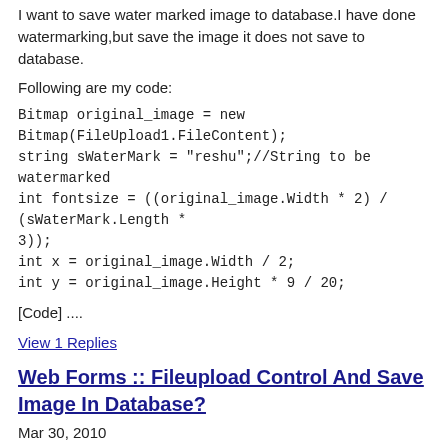I want to save water marked image to database.I have done watermarking,but save the image it does not save to database.
Following are my code:
Bitmap original_image = new Bitmap(FileUpload1.FileContent);
string sWaterMark = "reshu";//String to be watermarked
int fontsize = ((original_image.Width * 2) / (sWaterMark.Length * 3));
int x = original_image.Width / 2;
int y = original_image.Height * 9 / 20;
[Code] ....
View 1 Replies
Web Forms :: Fileupload Control And Save Image In Database?
Mar 30, 2010
i have a tabel in database named 'news' , it have a column name 'imgurl' for saving the url of image.